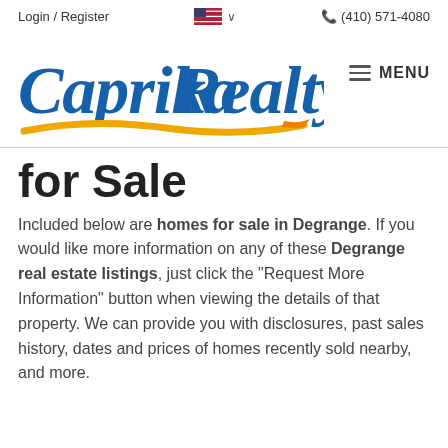Login / Register   🇺🇸 ∨   (410) 571-4080
[Figure (logo): Caprika Realty logo with blue cursive script text and yellow/orange swoosh underneath, followed by hamburger menu icon and MENU text]
for Sale
Included below are homes for sale in Degrange. If you would like more information on any of these Degrange real estate listings, just click the "Request More Information" button when viewing the details of that property. We can provide you with disclosures, past sales history, dates and prices of homes recently sold nearby, and more.